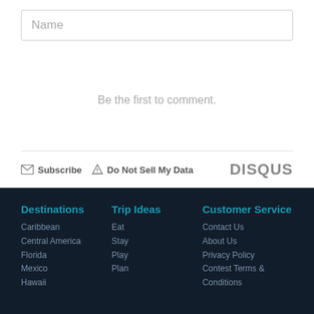[Figure (screenshot): Name input field placeholder]
Be the first to comment.
Subscribe  Do Not Sell My Data  DISQUS
Destinations
Caribbean
Central America
Florida
Mexico
Hawaii
Trip Ideas
Eat
Stay
Play
Plan
Customer Service
Contact Us
About Us
Privacy Policy
Contest Terms & Conditions